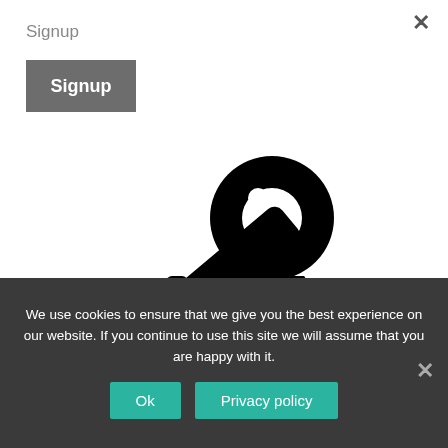Signup
[Figure (illustration): A large black key icon pointing diagonally, typical of a password/login context]
Safety
We use cookies to ensure that we give you the best experience on our website. If you continue to use this site we will assume that you are happy with it.
Ok
Privacy policy